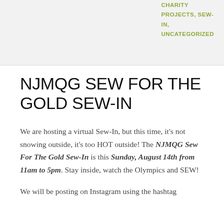CHARITY PROJECTS, SEW-IN, UNCATEGORIZED
NJMQG SEW FOR THE GOLD SEW-IN
We are hosting a virtual Sew-In, but this time, it's not snowing outside, it's too HOT outside! The NJMQG Sew For The Gold Sew-In is this Sunday, August 14th from 11am to 5pm. Stay inside, watch the Olympics and SEW!
We will be posting on Instagram using the hashtag